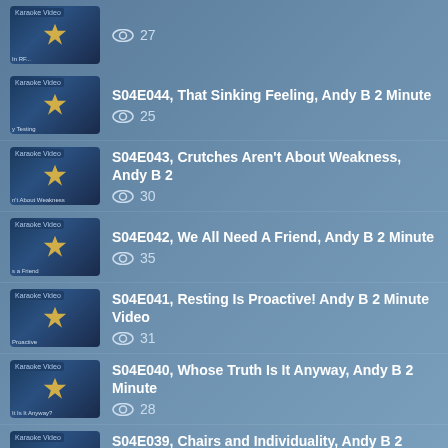27 views (partial item at top)
S04E044, That Sinking Feeling, Andy B 2 Minute — 25 views
S04E043, Crutches Aren't About Weakness, Andy B 2 — 30 views
S04E042, We All Need A Friend, Andy B 2 Minute — 35 views
S04E041, Resting Is Proactive! Andy B 2 Minute Video — 31 views
S04E040, Whose Truth Is It Anyway, Andy B 2 Minute — 28 views
S04E039, Chairs and Individuality, Andy B 2 Minute — 19 views
S04E038, Closed Isn't Necessarily Shut! Andy B 2 — 30 views